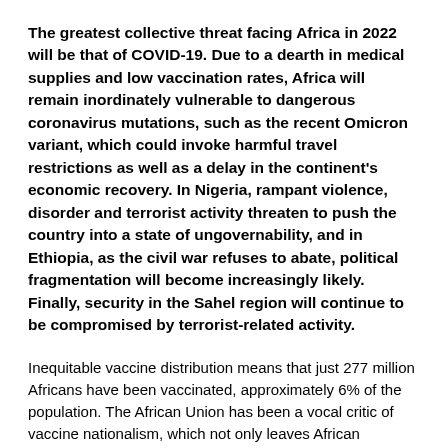The greatest collective threat facing Africa in 2022 will be that of COVID-19. Due to a dearth in medical supplies and low vaccination rates, Africa will remain inordinately vulnerable to dangerous coronavirus mutations, such as the recent Omicron variant, which could invoke harmful travel restrictions as well as a delay in the continent's economic recovery. In Nigeria, rampant violence, disorder and terrorist activity threaten to push the country into a state of ungovernability, and in Ethiopia, as the civil war refuses to abate, political fragmentation will become increasingly likely. Finally, security in the Sahel region will continue to be compromised by terrorist-related activity.
Inequitable vaccine distribution means that just 277 million Africans have been vaccinated, approximately 6% of the population. The African Union has been a vocal critic of vaccine nationalism, which not only leaves African countries vulnerable to future waves of infection, but is also likely to hamper economic recovery in 2022 and beyond. The multinational vaccine equity programme, COVAX, hopes to make 1.2bn doses available to lower-income countries in the first quarter of 2022. In addition, China has pledged Africa a donation of some